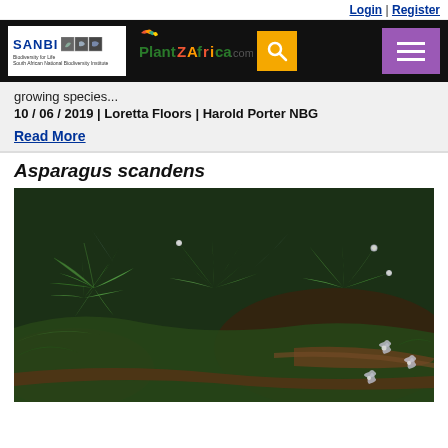Login | Register
[Figure (logo): SANBI (South African National Biodiversity Institute) and PlantZAfrica.com navigation header with search and hamburger menu buttons]
growing species...
10 / 06 / 2019 | Loretta Floors | Harold Porter NBG
Read More
Asparagus scandens
[Figure (photo): Close-up photograph of Asparagus scandens plant showing feathery green foliage with small white flowers, climbing over branches]